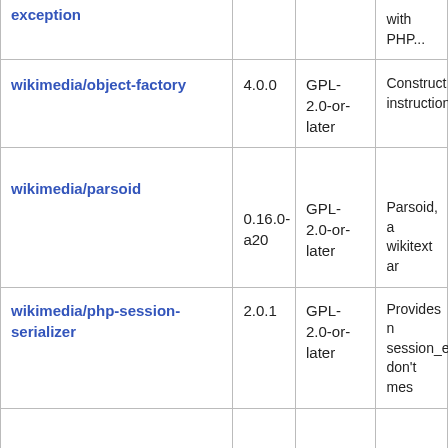| Package | Version | License | Description |
| --- | --- | --- | --- |
| exception |  |  | with PHP... |
| wikimedia/object-factory | 4.0.0 | GPL-2.0-or-later | Construct instructions |
| wikimedia/parsoid | 0.16.0-a20 | GPL-2.0-or-later | Parsoid, a wikitext ar... |
| wikimedia/php-session-serializer | 2.0.1 | GPL-2.0-or-later | Provides n session_e don't mes |
| wikimedia/purtle | 1.0.8 | GPL-2.0-or- | Fast strea |